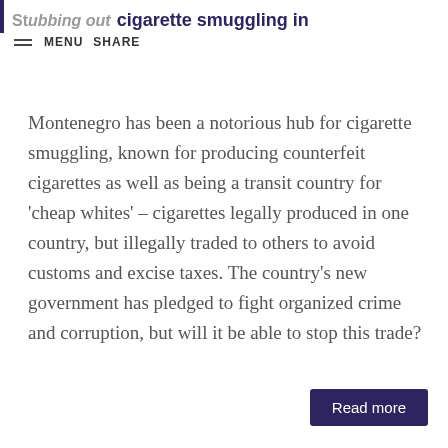Stubbing out cigarette smuggling in — MENU SHARE
Montenegro has been a notorious hub for cigarette smuggling, known for producing counterfeit cigarettes as well as being a transit country for 'cheap whites' – cigarettes legally produced in one country, but illegally traded to others to avoid customs and excise taxes. The country's new government has pledged to fight organized crime and corruption, but will it be able to stop this trade?
Read more